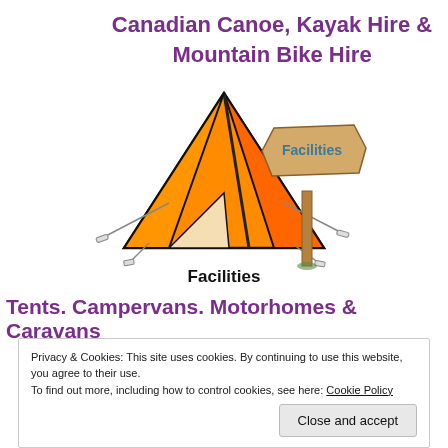Canadian Canoe, Kayak Hire & Mountain Bike Hire
[Figure (illustration): Illustration of an orange camping tent with tent pegs and guy ropes, alongside a wooden sign post reading 'Facilities' in teal text.]
Facilities
Tents. Campervans. Motorhomes & Caravans
Privacy & Cookies: This site uses cookies. By continuing to use this website, you agree to their use. To find out more, including how to control cookies, see here: Cookie Policy
Close and accept